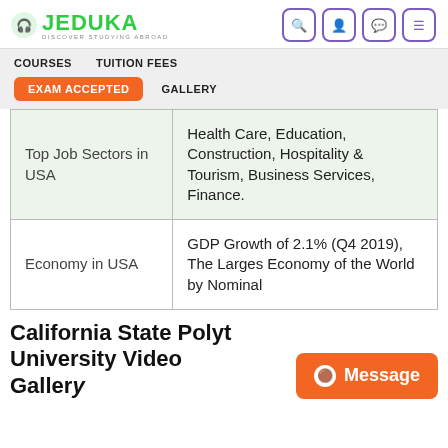[Figure (logo): Jeduka logo - green text with headphones icon and tagline 'Discover Studying Abroad']
[Figure (screenshot): Navigation bar with COURSES, TUITION FEES, EXAM ACCEPTED (active, orange), GALLERY tabs]
| Top Job Sectors in USA | Health Care, Education, Construction, Hospitality & Tourism, Business Services, Finance. |
| Economy in USA | GDP Growth of 2.1% (Q4 2019), The Larges Economy of the World by Nominal |
California State Polytechnic University Video Gallery
[Figure (screenshot): Orange 'Message' button with chat bubble icon in bottom right corner]